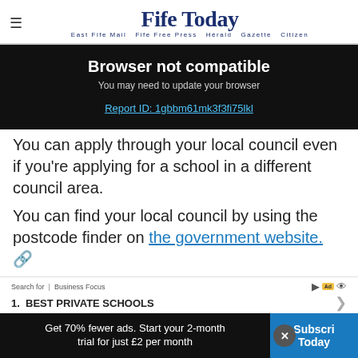Fife Today — East Fife Mail  Fife Free Press  Herald  Gazette  Citizen
Browser not compatible
You may need to update your browser
Report ID: 1gbbm61mk3f3fi75lkl
You can apply through your local council even if you're applying for a school in a different council area.
You can find your local council by using the postcode finder on the government website.
[Figure (screenshot): Advertisement bar: Search for | Business Focus — 1. BEST PRIVATE SCHOOLS]
Get 70% fewer ads. Start your 2-month trial for just £2 per month
Subscribe Today